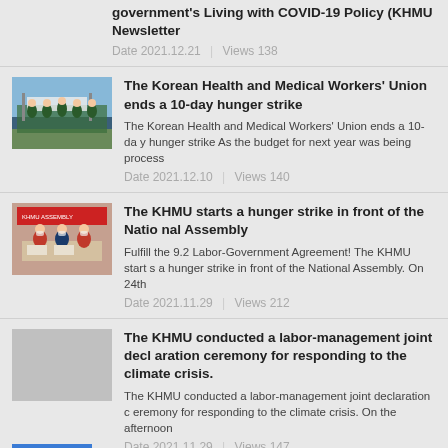government's Living with COVID-19 Policy (KHMU Newsletter
Date 2021.12.21  |  Views 138
[Figure (photo): Group of workers in green vests holding banners outdoors]
The Korean Health and Medical Workers' Union ends a 10-day hunger strike
The Korean Health and Medical Workers' Union ends a 10-day hunger strike As the budget for next year was being process
Date 2021.12.10  |  Views 140
[Figure (photo): People at a desk with banners at a hunger strike protest]
The KHMU starts a hunger strike in front of the National Assembly
Fulfill the 9.2 Labor-Government Agreement! The KHMU starts a hunger strike in front of the National Assembly. On 24th
Date 2021.11.29  |  Views 212
The KHMU conducted a labor-management joint declaration ceremony for responding to the climate crisis.
The KHMU conducted a labor-management joint declaration ceremony for responding to the climate crisis. On the afternoon
Date 2021.11.29  |  Views 147